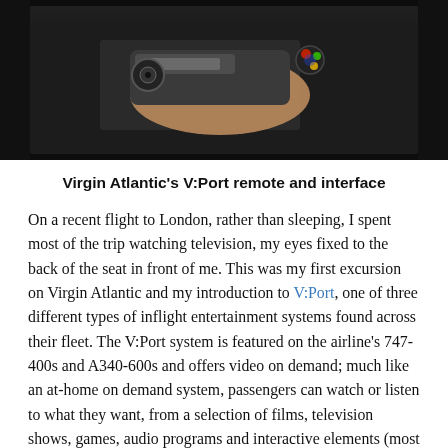[Figure (photo): Close-up photo of a hand holding a Virgin Atlantic V:Port remote control device against a dark background with colorful buttons visible]
Virgin Atlantic's V:Port remote and interface
On a recent flight to London, rather than sleeping, I spent most of the trip watching television, my eyes fixed to the back of the seat in front of me. This was my first excursion on Virgin Atlantic and my introduction to V:Port, one of three different types of inflight entertainment systems found across their fleet. The V:Port system is featured on the airline's 747-400s and A340-600s and offers video on demand; much like an at-home on demand system, passengers can watch or listen to what they want, from a selection of films, television shows, games, audio programs and interactive elements (most notably IMap, an application that allows passengers to track their flight path and